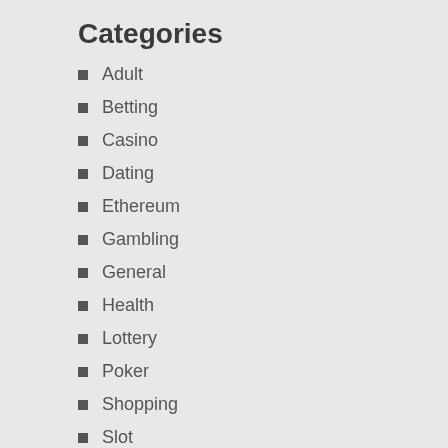Categories
Adult
Betting
Casino
Dating
Ethereum
Gambling
General
Health
Lottery
Poker
Shopping
Slot
Archives
August 2022